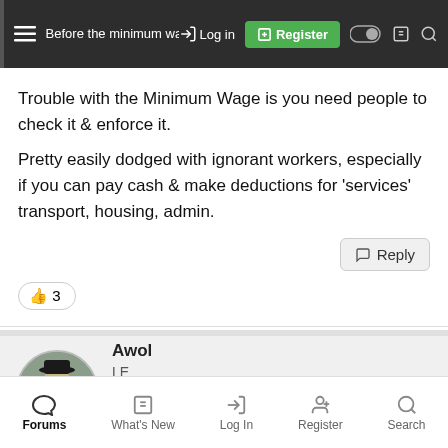Before the minimum wage? ... Log in | Register
Trouble with the Minimum Wage is you need people to check it & enforce it.
Pretty easily dodged with ignorant workers, especially if you can pay cash & make deductions for 'services' transport, housing, admin.
👍 3
Awol
LE
24 Jan 2022   #3,815
Forums | What's New | Log In | Register | Search